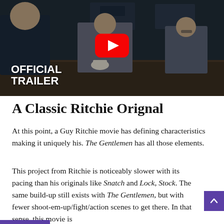[Figure (screenshot): YouTube video thumbnail showing a dark cinematic scene with two men at a table in a dimly lit bar/restaurant setting with a YouTube play button overlay. Text reads OFFICIAL TRAILER in white bold text at the bottom left.]
A Classic Ritchie Orignal
At this point, a Guy Ritchie movie has defining characteristics making it uniquely his. The Gentlemen has all those elements.
This project from Ritchie is noticeably slower with its pacing than his originals like Snatch and Lock, Stock. The same build-up still exists with The Gentlemen, but with fewer shoot-em-up/fight/action scenes to get there. In that sense, this movie is